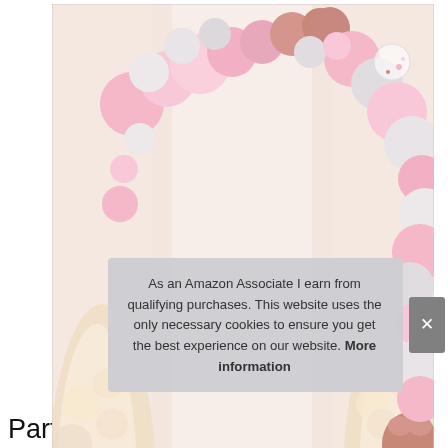[Figure (photo): A decorative balloon garland arch arrangement featuring pink, white, rose gold/metallic balloons and confetti balloons arranged in an arch shape. Background shows white draping fabric and floral arrangements. A white deer figurine with a large paper rose flower is centered beneath the arch. Rose gold heart-shaped foil balloons are visible.]
As an Amazon Associate I earn from qualifying purchases. This website uses the only necessary cookies to ensure you get the best experience on our website. More information
Party Decorations, 167 Pcs Helium